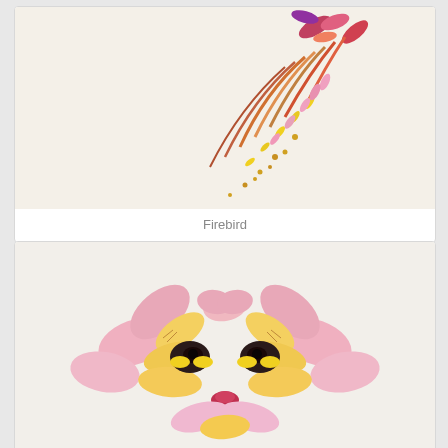[Figure (photo): Flower art arrangement called Firebird - an artistic composition of dried and fresh flower petals in warm tones of pink, red, orange, yellow and purple arranged to resemble a firebird/phoenix shape against a white/cream background]
Firebird
[Figure (photo): Flower art arrangement depicting a lion or cat face made from flower petals - pink and yellow alstroemeria petals arranged to form a face with dark pansy flower eyes, yellow petal mane, on a white textured background]